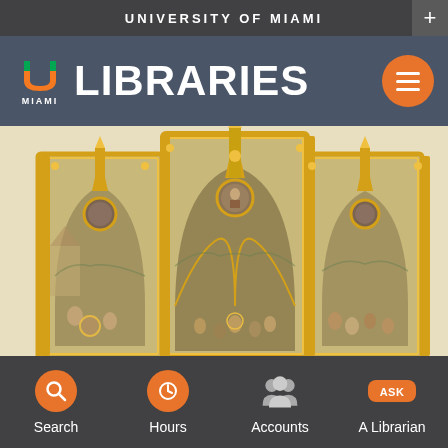UNIVERSITY OF MIAMI
LIBRARIES
[Figure (photo): University of Miami Libraries website screenshot showing the header with UM logo and LIBRARIES text, a hero image of Gentile da Fabriano's Gothic altarpiece triptych painting with elaborate gold frames, and a bottom navigation bar with Search, Hours, Accounts, and Ask A Librarian icons.]
Gentile
Search  Hours  Accounts  A Librarian